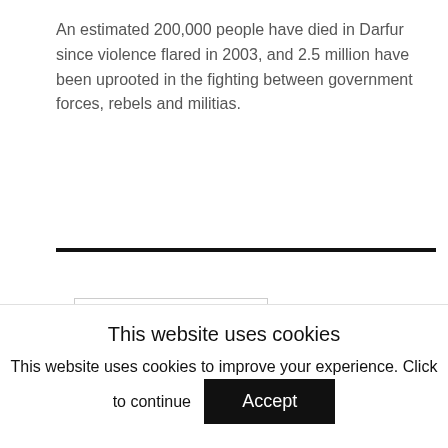An estimated 200,000 people have died in Darfur since violence flared in 2003, and 2.5 million have been uprooted in the fighting between government forces, rebels and militias.
[Figure (logo): Asharq Al-Awsat newspaper logo with Arabic text and subtitle in a bordered box]
Asharq Al-Awsat
Asharq Al-Awsat is the world's premier pan-Arab daily newspaper, printed simultaneously each day on four continents in 14 cities. Launched in London in 1978. Ashara Al-Awsat
This website uses cookies
This website uses cookies to improve your experience. Click to continue  Accept